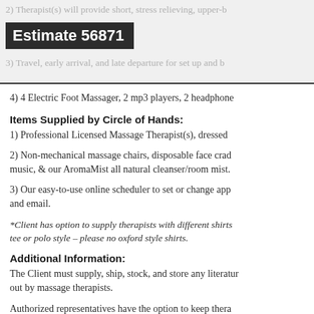Estimate 56871
4) 4 Electric Foot Massager, 2 mp3 players, 2 headphone
Items Supplied by Circle of Hands:
1) Professional Licensed Massage Therapist(s), dressed
2) Non-mechanical massage chairs, disposable face crad music, & our AromaMist all natural cleanser/room mist.
3) Our easy-to-use online scheduler to set or change app and email.
*Client has option to supply therapists with different shirts tee or polo style – please no oxford style shirts.
Additional Information:
The Client must supply, ship, stock, and store any literatur out by massage therapists.
Authorized representatives have the option to keep thera the contract agreement.